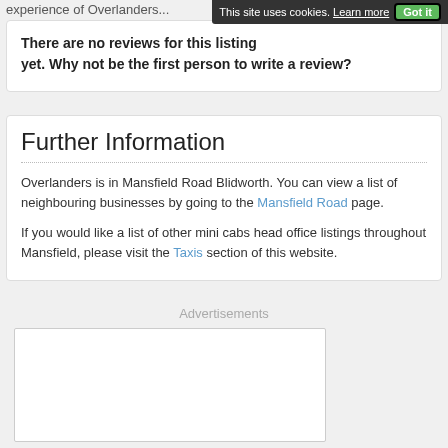experience of Overlanders...
[Figure (screenshot): Cookie consent bar with 'This site uses cookies. Learn more Got it' buttons]
There are no reviews for this listing yet. Why not be the first person to write a review?
Further Information
Overlanders is in Mansfield Road Blidworth. You can view a list of neighbouring businesses by going to the Mansfield Road page.
If you would like a list of other mini cabs head office listings throughout Mansfield, please visit the Taxis section of this website.
Advertisements